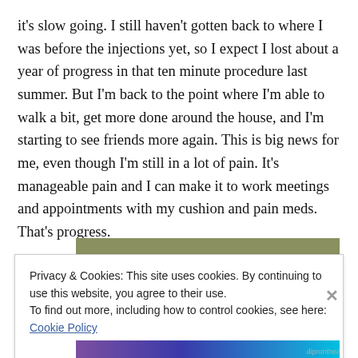it's slow going. I still haven't gotten back to where I was before the injections yet, so I expect I lost about a year of progress in that ten minute procedure last summer. But I'm back to the point where I'm able to walk a bit, get more done around the house, and I'm starting to see friends more again. This is big news for me, even though I'm still in a lot of pain. It's manageable pain and I can make it to work meetings and appointments with my cushion and pain meds. That's progress.
[Figure (photo): Partial image with olive/sage green color block visible at top, and colorful strip at bottom edge]
Privacy & Cookies: This site uses cookies. By continuing to use this website, you agree to their use.
To find out more, including how to control cookies, see here: Cookie Policy